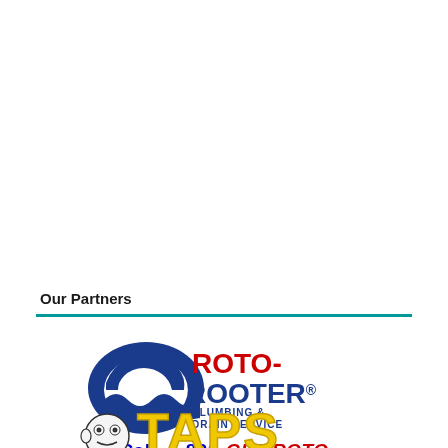Our Partners
[Figure (logo): Roto-Rooter Plumbing & Drain Service logo with text 'Call 1-800-GET-ROTO']
[Figure (logo): Taps logo with cartoon character, partial view at bottom of page]